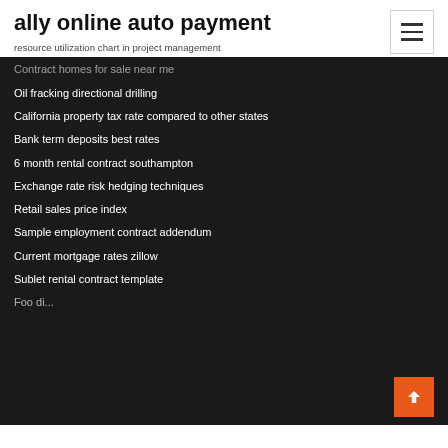ally online auto payment
resource utilization chart in project management
Contract homes for sale near me
Oil fracking directional drilling
California property tax rate compared to other states
Bank term deposits best rates
6 month rental contract southampton
Exchange rate risk hedging techniques
Retail sales price index
Sample employment contract addendum
Current mortgage rates zillow
Sublet rental contract template
Foo di...